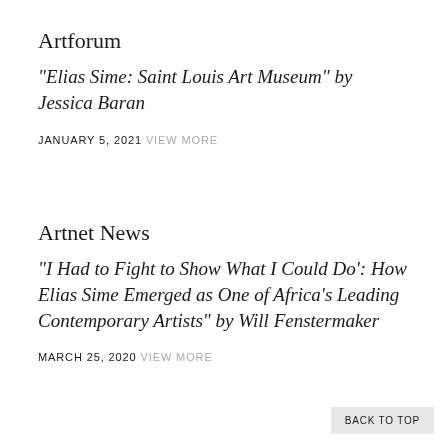Artforum
“Elias Sime: Saint Louis Art Museum” by Jessica Baran
JANUARY 5, 2021
VIEW MORE
Artnet News
“I Had to Fight to Show What I Could Do’: How Elias Sime Emerged as One of Africa’s Leading Contemporary Artists” by Will Fenstermaker
MARCH 25, 2020
VIEW MORE
BACK TO TOP